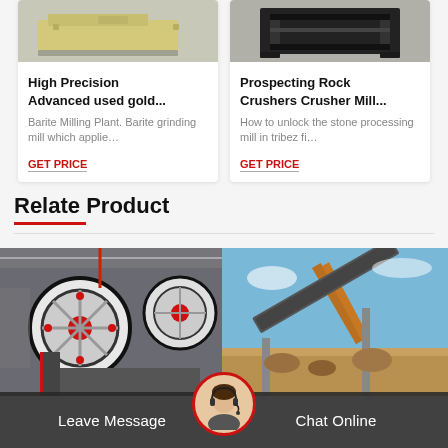[Figure (photo): Yellow industrial machinery/milling equipment on a concrete floor]
High Precision Advanced used gold...
Barite Milling Plant. Barite grinding mill which applie...
GET PRICE
[Figure (photo): Black metal industrial frame/crushing equipment]
Prospecting Rock Crushers Crusher Mill...
How to unlock the stone processing mill in tribez fi...
GET PRICE
Relate Product
[Figure (photo): Industrial crusher machine with red and white flywheels in a factory]
[Figure (photo): Mining conveyor belt equipment against blue sky]
Leave Message
Chat Online